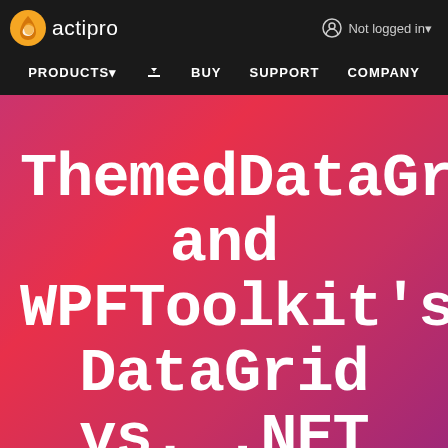[Figure (logo): Actipro logo with orange circular icon and white 'actipro' wordmark on dark navigation bar]
Not logged in▾
PRODUCTS▾  🡇  BUY  SUPPORT  COMPANY
ThemedDataGrid and WPFToolkit's DataGrid vs. .NET 4.0 Datagrid
WPF Studio, Themes, and Shared Library for WPF Forum